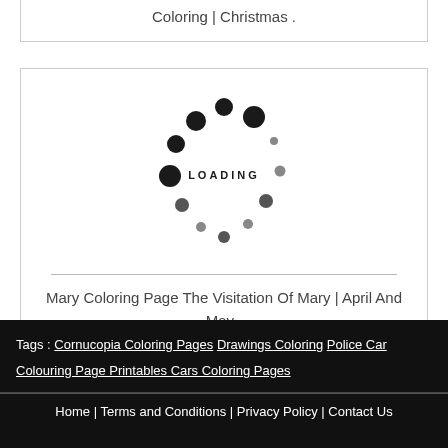Coloring | Christmas .
[Figure (other): Loading spinner animation (circular dots with LOADING text)]
Mary Coloring Page The Visitation Of Mary | April And May .
[Figure (other): Loading spinner animation (circular dots with LOADING text)]
Tags : Cornucopia Coloring Pages | Drawings Coloring | Police Car Colouring Page Printables Cars Coloring Pages
Home | Terms and Conditions | Privacy Policy | Contact Us